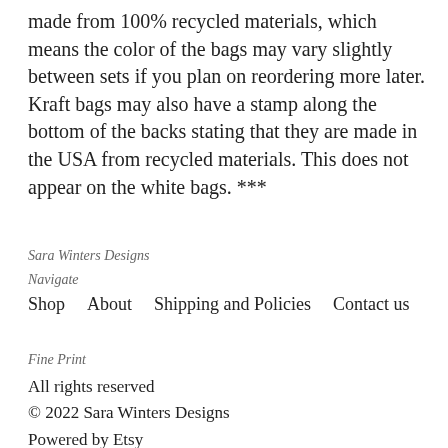made from 100% recycled materials, which means the color of the bags may vary slightly between sets if you plan on reordering more later. Kraft bags may also have a stamp along the bottom of the backs stating that they are made in the USA from recycled materials. This does not appear on the white bags. ***
Sara Winters Designs
Navigate
Shop    About    Shipping and Policies    Contact us
Fine Print
All rights reserved
© 2022 Sara Winters Designs
Powered by Etsy